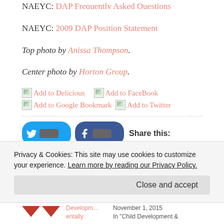NAEYC: DAP Frequently Asked Questions
NAEYC: 2009 DAP Position Statement
Top photo by Anissa Thompson.
Center photo by Horton Group.
[Figure (screenshot): Social sharing buttons: Add to Delicious, Add to FaceBook, Add to Google Bookmark, Add to Twitter]
Share this:
[Figure (screenshot): Twitter and Facebook share buttons]
Privacy & Cookies: This site may use cookies to customize your experience. Learn more by reading our Privacy Policy.
Close and accept
Developm... entally  November 1, 2015  In "Child Development &